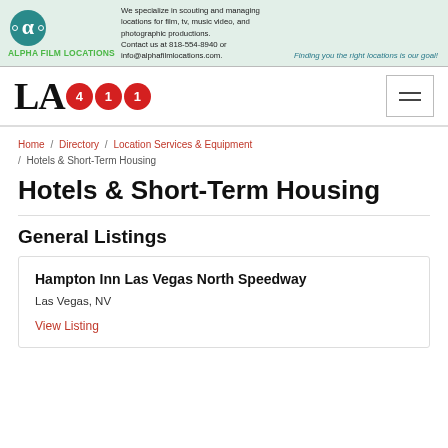[Figure (logo): Alpha Film Locations advertisement banner with teal circular film reel icon, green ALPHA FILM LOCATIONS text, ad copy about scouting and managing locations for film, tv, music video, and photographic productions, contact info 818-554-8940 and info@alphafilmlocations.com, and tagline 'Finding you the right locations is our goal!']
[Figure (logo): LA411 logo with large serif LA text and red circular badges containing 4 and 1 and 1]
Home / Directory / Location Services & Equipment / Hotels & Short-Term Housing
Hotels & Short-Term Housing
General Listings
Hampton Inn Las Vegas North Speedway
Las Vegas, NV
View Listing